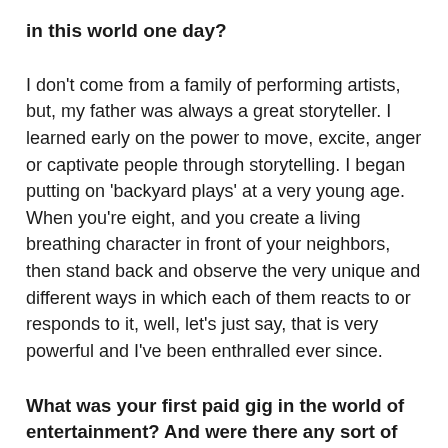in this world one day?
I don't come from a family of performing artists, but, my father was always a great storyteller. I learned early on the power to move, excite, anger or captivate people through storytelling. I began putting on 'backyard plays' at a very young age. When you're eight, and you create a living breathing character in front of your neighbors, then stand back and observe the very unique and different ways in which each of them reacts to or responds to it, well, let's just say, that is very powerful and I've been enthralled ever since.
What was your first paid gig in the world of entertainment? And were there any sort of lessons learned from this experience that still affect your work